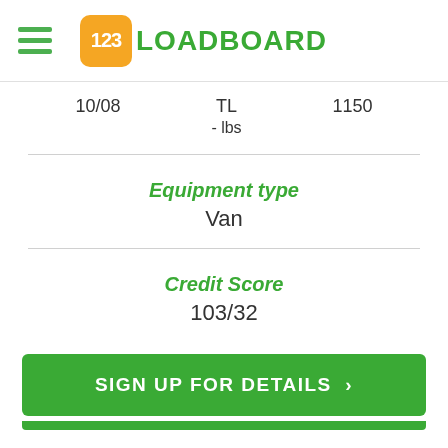[Figure (logo): 123Loadboard logo with orange rounded square containing '123' text and green 'LOADBOARD' text]
10/08   TL   1150
- lbs
Equipment type
Van
Credit Score
103/32
SIGN UP FOR DETAILS >